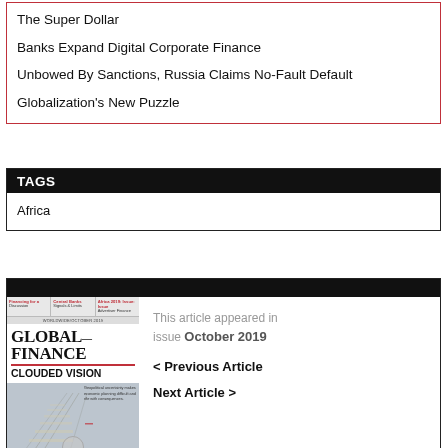The Super Dollar
Banks Expand Digital Corporate Finance
Unbowed By Sanctions, Russia Claims No-Fault Default
Globalization's New Puzzle
TAGS
Africa
[Figure (photo): Cover of Global Finance magazine, October 2019 issue, showing 'CLOUDED VISION' headline with an image of stairs/bridge in fog]
This article appeared in issue October 2019
< Previous Article
Next Article >